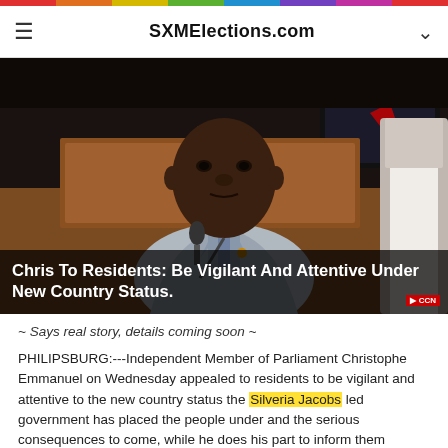SXMElections.com
[Figure (photo): Man in grey suit jacket sitting at a parliamentary desk with a nameplate reading 'L. Duncan' behind him, speaking at a microphone in what appears to be a government chamber.]
Chris To Residents: Be Vigilant And Attentive Under New Country Status.
~ Says real story, details coming soon ~
PHILIPSBURG:---Independent Member of Parliament Christophe Emmanuel on Wednesday appealed to residents to be vigilant and attentive to the new country status the Silveria Jacobs led government has placed the people under and the serious consequences to come, while he does his part to inform them